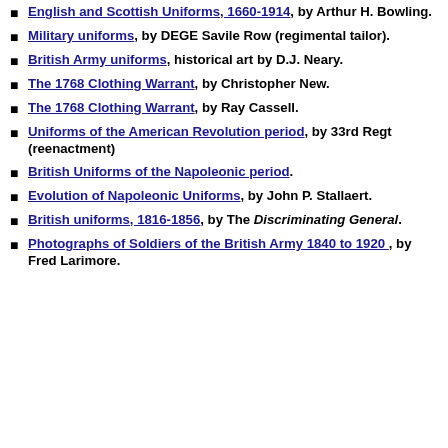English and Scottish Uniforms, 1660-1914, by Arthur H. Bowling.
Military uniforms, by DEGE Savile Row (regimental tailor).
British Army uniforms, historical art by D.J. Neary.
The 1768 Clothing Warrant, by Christopher New.
The 1768 Clothing Warrant, by Ray Cassell.
Uniforms of the American Revolution period, by 33rd Regt (reenactment)
British Uniforms of the Napoleonic period.
Evolution of Napoleonic Uniforms, by John P. Stallaert.
British uniforms, 1816-1856, by The Discriminating General.
Photographs of Soldiers of the British Army 1840 to 1920, by Fred Larimore.